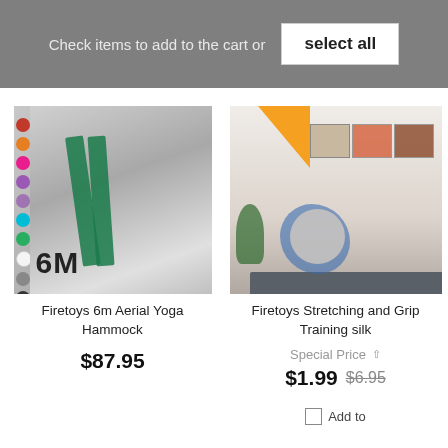Check items to add to the cart or select all
[Figure (photo): Firetoys 6m Aerial Yoga Hammock product photo showing a person in a green hammock, with color swatches and 6M size badge]
Firetoys 6m Aerial Yoga Hammock
$87.95
[Figure (photo): Firetoys Stretching and Grip Training silk product photo showing a person doing a yoga pose on a mat, with orange corner badge]
Firetoys Stretching and Grip Training silk
Special Price
$1.99 $6.95
Add to